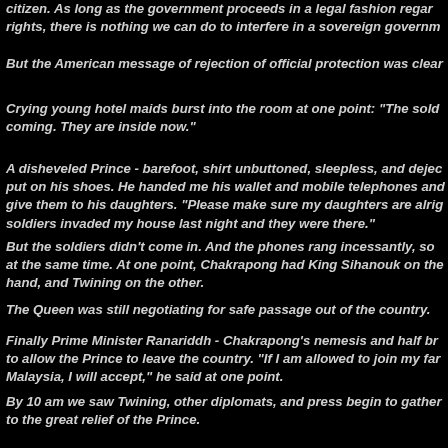citizen. As long as the government proceeds in a legal fashion regarding the rights of its citizen. As long as the government proceeds in a legal fashion regar... rights, there is nothing we can do to interfere in a sovereign governm...
But the American message of rejection of official protection was clear...
Crying young hotel maids burst into the room at one point: "The sold... coming. They are inside now."
A disheveled Prince - barefoot, shirt unbuttoned, sleepless, and dejec... put on his shoes. He handed me his wallet and mobile telephones and... give them to his daughters. "Please make sure my daughters are alrig... soldiers invaded my house last night and they were there."
But the soldiers didn't come in. And the phones rang incessantly, so... at the same time. At one point, Chakrapong had King Sihanouk on the... hand, and Twining on the other.
The Queen was still negotiating for safe passage out of the country.
Finally Prime Minister Ranariddh - Chakrapong's nemesis and half br... to allow the Prince to leave the country. "If I am allowed to join my far... Malaysia, I will accept," he said at one point.
By 10 am we saw Twining, other diplomats, and press begin to gather... to the great relief of the Prince.
"I have given ten years of my life for my country for nothing. They are... plane for me," he said after hanging up from a call from the queen.
"I want you to tell them I am innocent. I am a military man. I know how...